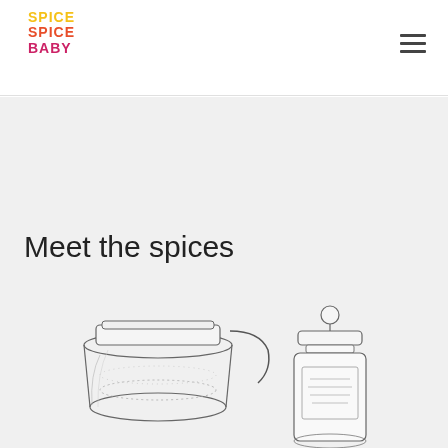[Figure (logo): Spice Spice Baby logo with three stacked words: SPICE in yellow, SPICE in red-orange, BABY in pink/magenta]
[Figure (illustration): Hamburger menu icon (three horizontal lines) in top right corner]
Meet the spices
[Figure (illustration): Two hand-drawn spice jars: left jar is a wide-mouth mason jar with a wire bail closure, right jar is a tall apothecary-style jar with a round knob lid, both drawn in pencil/sketch style]